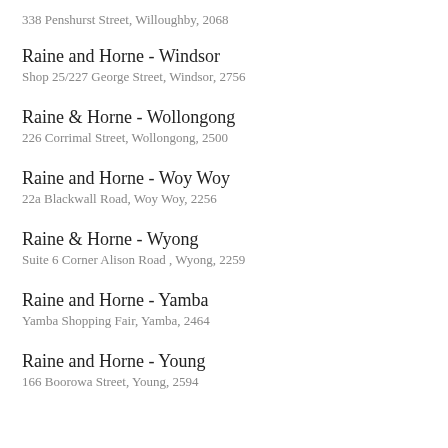338 Penshurst Street, Willoughby, 2068
Raine and Horne - Windsor
Shop 25/227 George Street, Windsor, 2756
Raine & Horne - Wollongong
226 Corrimal Street, Wollongong, 2500
Raine and Horne - Woy Woy
22a Blackwall Road, Woy Woy, 2256
Raine & Horne - Wyong
Suite 6 Corner Alison Road , Wyong, 2259
Raine and Horne - Yamba
Yamba Shopping Fair, Yamba, 2464
Raine and Horne - Young
166 Boorowa Street, Young, 2594